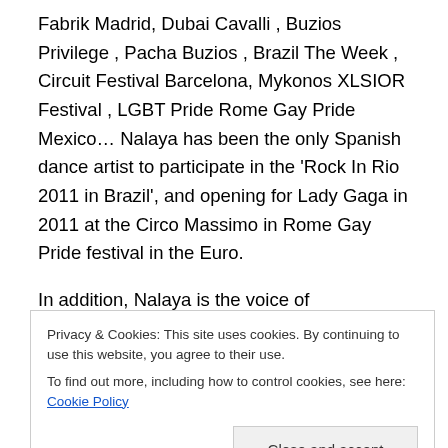Fabrik Madrid, Dubai Cavalli , Buzios Privilege , Pacha Buzios , Brazil The Week , Circuit Festival Barcelona, Mykonos XLSIOR Festival , LGBT Pride Rome Gay Pride Mexico… Nalaya has been the only Spanish dance artist to participate in the 'Rock In Rio 2011 in Brazil', and opening for Lady Gaga in 2011 at the Circo Massimo in Rome Gay Pride festival in the Euro.
In addition, Nalaya is the voice of 'SUPERMARTXE', the most important holiday in Europe that meets every Friday in the summer with over 15,000 people on the island of
Privacy & Cookies: This site uses cookies. By continuing to use this website, you agree to their use. To find out more, including how to control cookies, see here: Cookie Policy
Close and accept
and hot Latin tracks charts, including 'Gualiando,' 'El